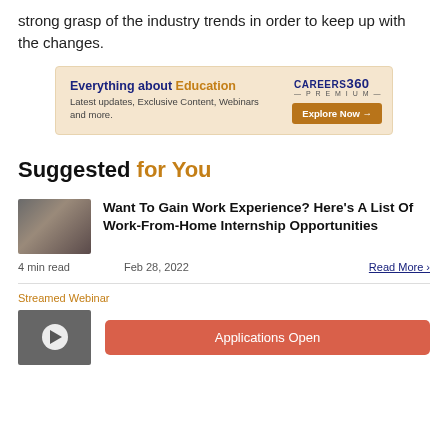strong grasp of the industry trends in order to keep up with the changes.
[Figure (infographic): Careers360 Premium advertisement banner: 'Everything about Education - Latest updates, Exclusive Content, Webinars and more.' with Explore Now button]
Suggested for You
[Figure (photo): Thumbnail image of a person working at a desk, article about Work-From-Home internships]
Want To Gain Work Experience? Here's A List Of Work-From-Home Internship Opportunities
4 min read   Feb 28, 2022   Read More >
Streamed Webinar
[Figure (screenshot): Video thumbnail with play button for a streamed webinar]
Applications Open